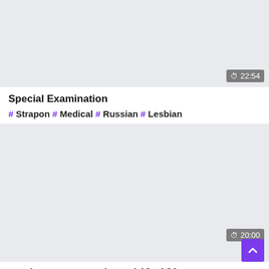[Figure (screenshot): Video thumbnail placeholder, light gray background with duration badge showing 22:54 in bottom right]
Special Examination
#Strapon #Medical #Russian #Lesbian
[Figure (screenshot): Video thumbnail placeholder, light gray background with duration badge showing 20:00 and a purple scroll-to-top button]
russian mamma and angel 12 of 26